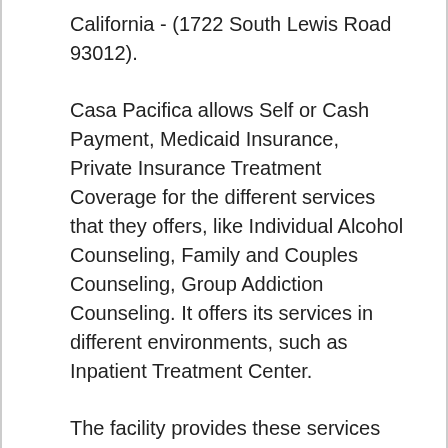California - (1722 South Lewis Road 93012).
Casa Pacifica allows Self or Cash Payment, Medicaid Insurance, Private Insurance Treatment Coverage for the different services that they offers, like Individual Alcohol Counseling, Family and Couples Counseling, Group Addiction Counseling. It offers its services in different environments, such as Inpatient Treatment Center.
The facility provides these services for these types of care: Mental Health Disorder Recovery. Additionally, the program has a few special programs for individuals, including Drug and Alcohol Treatment for Persons with Co-Occurring Substance Use and Mental